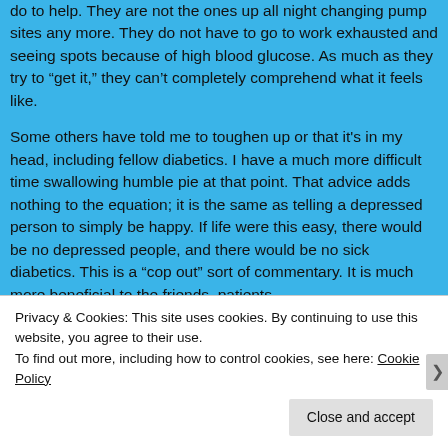do to help. They are not the ones up all night changing pump sites any more. They do not have to go to work exhausted and seeing spots because of high blood glucose. As much as they try to "get it," they can't completely comprehend what it feels like.
Some others have told me to toughen up or that it's in my head, including fellow diabetics. I have a much more difficult time swallowing humble pie at that point. That advice adds nothing to the equation; it is the same as telling a depressed person to simply be happy. If life were this easy, there would be no depressed people, and there would be no sick diabetics. This is a "cop out" sort of commentary. It is much more beneficial to the friends, patients,
Privacy & Cookies: This site uses cookies. By continuing to use this website, you agree to their use.
To find out more, including how to control cookies, see here: Cookie Policy
Close and accept